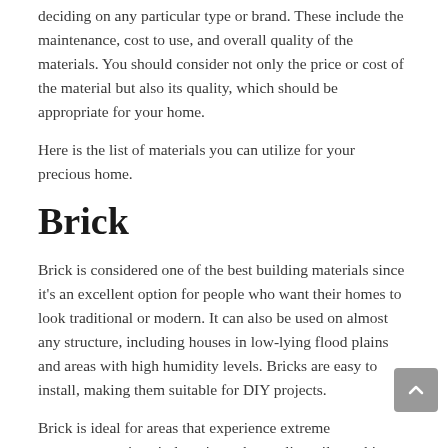deciding on any particular type or brand. These include the maintenance, cost to use, and overall quality of the materials. You should consider not only the price or cost of the material but also its quality, which should be appropriate for your home.
Here is the list of materials you can utilize for your precious home.
Brick
Brick is considered one of the best building materials since it's an excellent option for people who want their homes to look traditional or modern. It can also be used on almost any structure, including houses in low-lying flood plains and areas with high humidity levels. Bricks are easy to install, making them suitable for DIY projects.
Brick is ideal for areas that experience extreme temperatures since it doesn't crack or split easily, making them extremely durable and long-lasting. It's also one of the most fire-resistant building materials, able to withstand even direct flame contact without any problem at all.